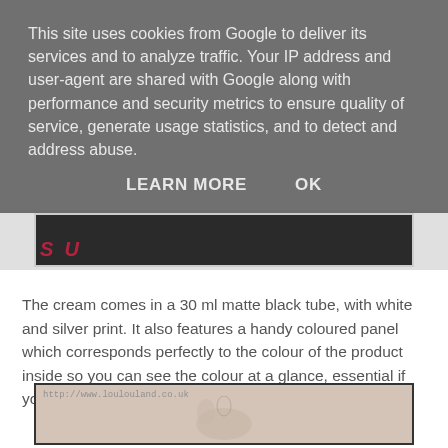This site uses cookies from Google to deliver its services and to analyze traffic. Your IP address and user-agent are shared with Google along with performance and security metrics to ensure quality of service, generate usage statistics, and to detect and address abuse.
LEARN MORE    OK
[Figure (photo): Partially visible dark product tube image with pink/red text visible at the bottom left]
The cream comes in a 30 ml matte black tube, with white and silver print. It also features a handy coloured panel which corresponds perfectly to the colour of the product inside so you can see the colour at a glance, essential if you've picked up more than one colour.
[Figure (photo): Bottom portion of image showing a cream-coloured foot or toe shape on a beige background, with watermark http://www.loulouland.co.uk]